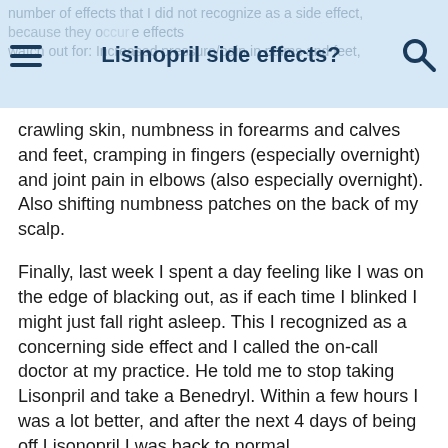number of effects that I did not recognize as a side effect, because they occur... effects watch out for: Increased pressure/pain in palms and feet, | Lisinopril side effects?
crawling skin, numbness in forearms and calves and feet, cramping in fingers (especially overnight) and joint pain in elbows (also especially overnight). Also shifting numbness patches on the back of my scalp.
Finally, last week I spent a day feeling like I was on the edge of blacking out, as if each time I blinked I might just fall right asleep. This I recognized as a concerning side effect and I called the on-call doctor at my practice. He told me to stop taking Lisonpril and take a Benedryl. Within a few hours I was a lot better, and after the next 4 days of being off Lisonopril I was back to normal.
Yesterday my doctor thought I should try a lower dose to see how it goes. He put me on half a pill, which is 2.5 mg. I